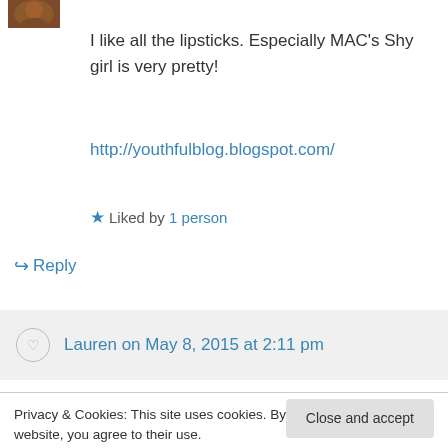[Figure (photo): Small circular avatar image of a person]
I like all the lipsticks. Especially MAC's Shy girl is very pretty!
http://youthfulblog.blogspot.com/
★ Liked by 1 person
↪ Reply
Lauren on May 8, 2015 at 2:11 pm
Privacy & Cookies: This site uses cookies. By continuing to use this website, you agree to their use.
To find out more, including how to control cookies, see here: Our Cookie Policy